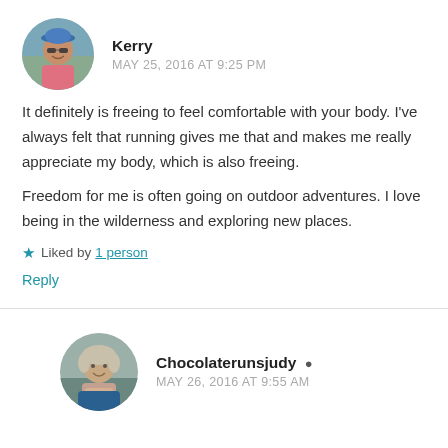[Figure (photo): Circular avatar photo of Kerry, a woman wearing a blue cap and sunglasses, outdoors]
Kerry
MAY 25, 2016 AT 9:25 PM
It definitely is freeing to feel comfortable with your body. I've always felt that running gives me that and makes me really appreciate my body, which is also freeing.
Freedom for me is often going on outdoor adventures. I love being in the wilderness and exploring new places.
★ Liked by 1 person
Reply
[Figure (photo): Circular avatar photo of Chocolaterunsjudy, a woman with light hair wearing a scarf, smiling]
Chocolaterunsjudy
MAY 26, 2016 AT 9:55 AM